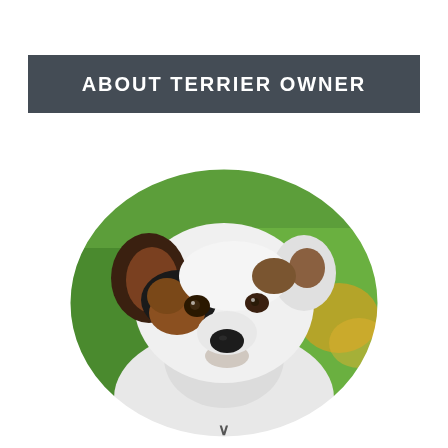ABOUT TERRIER OWNER
[Figure (photo): A close-up photo of a Jack Russell Terrier puppy with white fur, brown and black markings on face and ears, looking at camera. Green background with blurred yellow flowers. Photo is displayed in a rounded/oval clipped shape.]